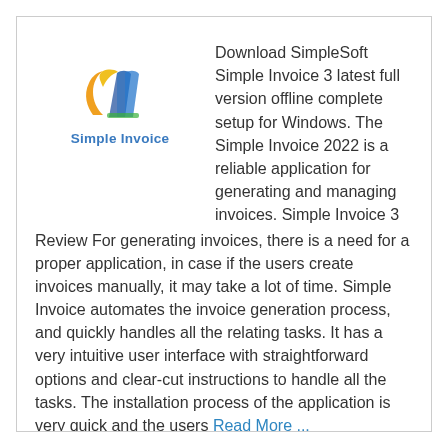[Figure (logo): Simple Invoice logo with colorful stylized icon and 'Simple Invoice' text in blue]
Download SimpleSoft Simple Invoice 3 latest full version offline complete setup for Windows. The Simple Invoice 2022 is a reliable application for generating and managing invoices. Simple Invoice 3 Review For generating invoices, there is a need for a proper application, in case if the users create invoices manually, it may take a lot of time. Simple Invoice automates the invoice generation process, and quickly handles all the relating tasks. It has a very intuitive user interface with straightforward options and clear-cut instructions to handle all the tasks. The installation process of the application is very quick and the users Read More ...